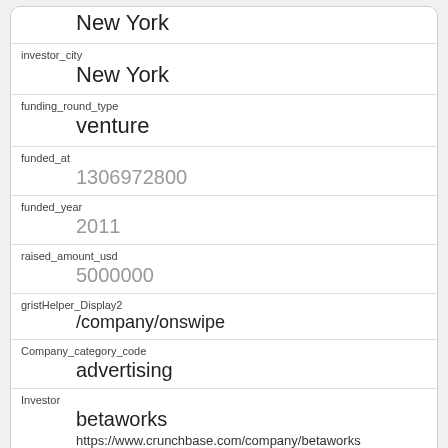| Field | Value |
| --- | --- |
|  | New York |
| investor_city | New York |
| funding_round_type | venture |
| funded_at | 1306972800 |
| funded_year | 2011 |
| raised_amount_usd | 5000000 |
| gristHelper_Display2 | /company/onswipe |
| Company_category_code | advertising |
| Investor | betaworks
https://www.crunchbase.com/company/betaworks |
| id |
| --- |